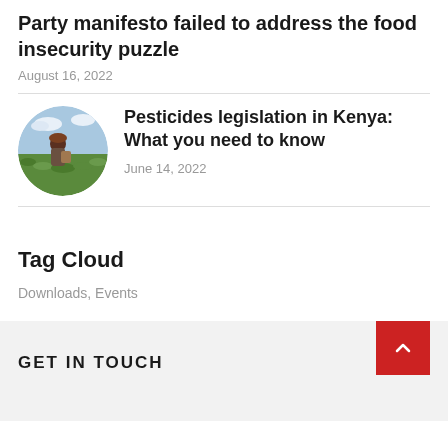Party manifesto failed to address the food insecurity puzzle
August 16, 2022
[Figure (photo): Person standing in a farm field, carrying a bag on their back, with green crops growing around them. Circular thumbnail photo.]
Pesticides legislation in Kenya: What you need to know
June 14, 2022
Tag Cloud
Downloads, Events
GET IN TOUCH